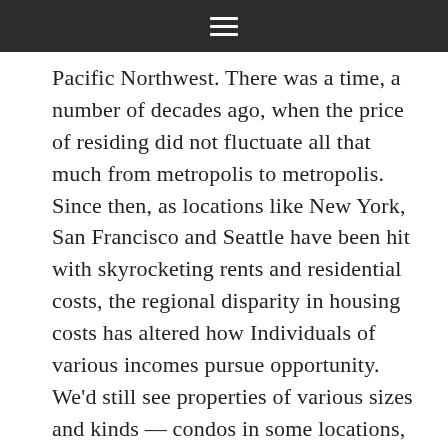≡
Pacific Northwest. There was a time, a number of decades ago, when the price of residing did not fluctuate all that much from metropolis to metropolis. Since then, as locations like New York, San Francisco and Seattle have been hit with skyrocketing rents and residential costs, the regional disparity in housing costs has altered how Individuals of various incomes pursue opportunity. We'd still see properties of various sizes and kinds — condos in some locations, single-household properties in others — depending on the market in every city. A New York house would be smaller than one in, say, Houston.